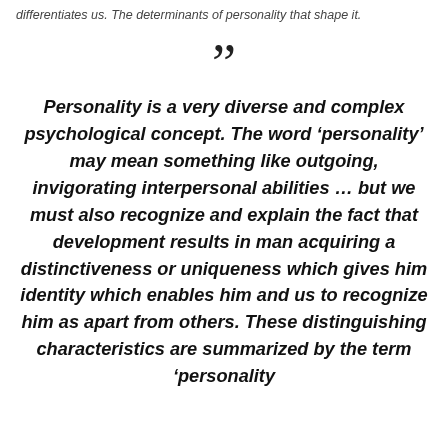differentiates us. The determinants of personality that shape it.
Personality is a very diverse and complex psychological concept. The word ‘personality’ may mean something like outgoing, invigorating interpersonal abilities … but we must also recognize and explain the fact that development results in man acquiring a distinctiveness or uniqueness which gives him identity which enables him and us to recognize him as apart from others. These distinguishing characteristics are summarized by the term ‘personality